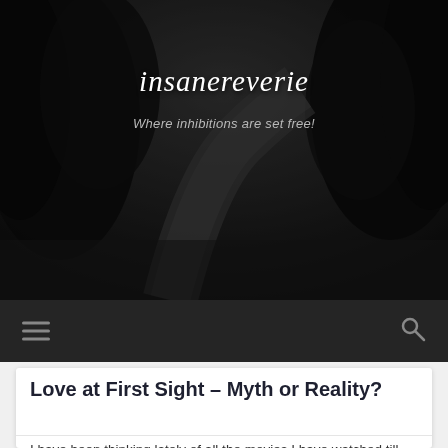[Figure (screenshot): Black and white photo of a winding road through trees, used as blog header background]
insanereverie
Where inhibitions are set free!
[Figure (other): Navigation bar with hamburger menu icon on left and search icon on right on dark background]
Love at First Sight – Myth or Reality?
I have been thinking lately of all the movies I have watched till date, in which the idea of ‘love at first sight’ has been glorified and shown off. The